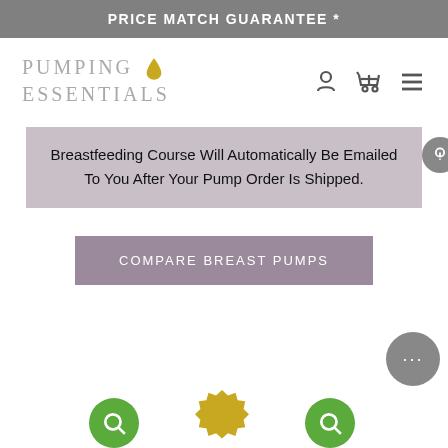PRICE MATCH GUARANTEE *
[Figure (logo): Pumping Essentials logo with gold droplet icon]
Breastfeeding Course Will Automatically Be Emailed To You After Your Pump Order Is Shipped.
COMPARE BREAST PUMPS